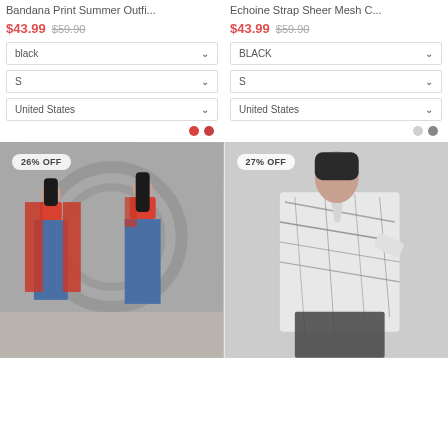Bandana Print Summer Outfi...
$43.99  $59.90
black
S
United States
Echoine Strap Sheer Mesh C...
$43.99  $59.90
BLACK
S
United States
[Figure (photo): Woman in red crop top and jeans with red maxi overlay, discount badge 26% OFF]
[Figure (photo): Woman in black and white printed long-sleeve shirt, discount badge 27% OFF]